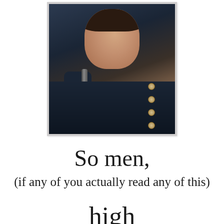[Figure (photo): A young man in a dark military-style coat with gold buttons, holding a cane or rod near his face, looking intensely at the camera. He has curly dark hair and is wearing a cravat.]
So men,
(if any of you actually read any of this)
high